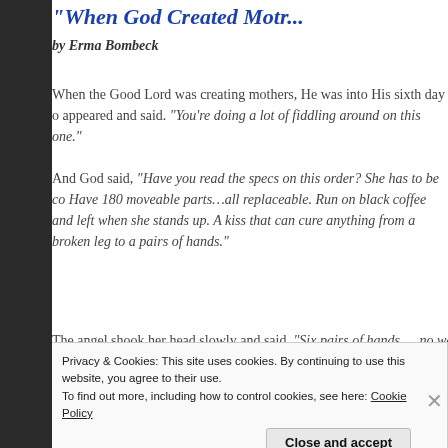"When God Created Moth...
by Erma Bombeck
When the Good Lord was creating mothers, He was into His sixth day of appeared and said. "You're doing a lot of fiddling around on this one."
And God said, "Have you read the specs on this order? She has to be co... Have 180 moveable parts…all replaceable. Run on black coffee and left... when she stands up. A kiss that can cure anything from a broken leg to a... pairs of hands."
The angel shook her head slowly and said. "Six pairs of hands…. no wa...
[Figure (photo): Partial photo of a person in a white shirt, viewed from behind]
★★★★★
Get the app
Privacy & Cookies: This site uses cookies. By continuing to use this website, you agree to their use.
To find out more, including how to control cookies, see here: Cookie Policy
Close and accept